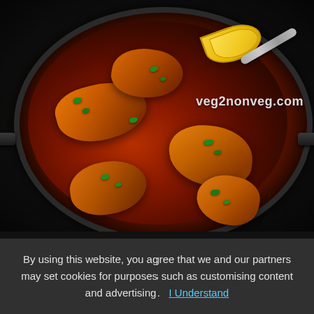[Figure (photo): A dark pan/kadai containing spicy red fish or chicken curry pieces coated in thick reddish-brown masala sauce, garnished with fresh coriander leaves and a lemon wedge. A spoon/ladle is visible in the pan. Watermark reads 'veg2nonveg.com'.]
By using this website, you agree that we and our partners may set cookies for purposes such as customising content and advertising.  I Understand